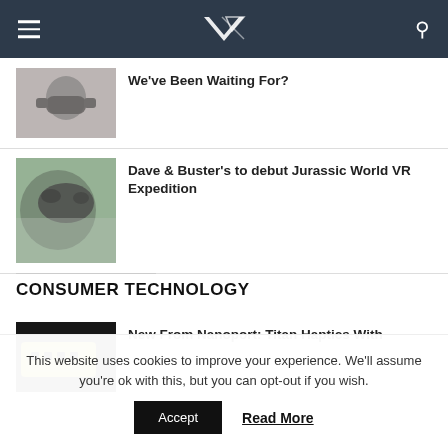VR [logo navigation bar with hamburger menu and search icon]
We've Been Waiting For?
[Figure (photo): Person wearing VR headset, dark clothing, gray background]
Dave & Buster's to debut Jurassic World VR Expedition
[Figure (photo): Close-up of a dinosaur face (raptor) in a misty environment]
CONSUMER TECHNOLOGY
[Figure (photo): Yellow and black electronic haptic device]
New From Nanoport: Titan Haptics With
This website uses cookies to improve your experience. We'll assume you're ok with this, but you can opt-out if you wish.